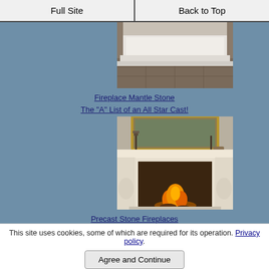Full Site | Back to Top
[Figure (photo): Fireplace mantle with white surround, partially visible at top]
Fireplace Mantle Stone
The "A" List of an All Star Cast!
[Figure (photo): Ornate precast stone fireplace with decorative mantle, candelabra and painting on mantle, fire burning inside]
Precast Stone Fireplaces
This site uses cookies, some of which are required for its operation. Privacy policy
Agree and Continue